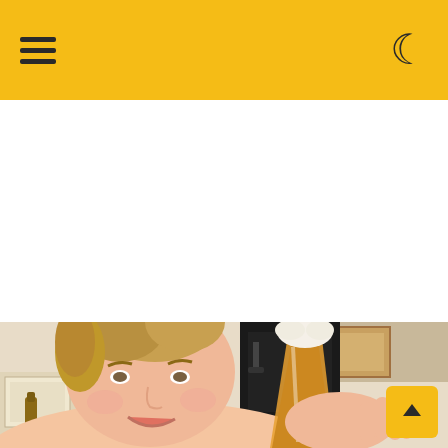[Figure (screenshot): Website header bar with golden/yellow background. Left side shows a hamburger menu icon (three horizontal lines). Right side shows a crescent moon icon for dark mode toggle.]
[Figure (photo): A smiling woman with blonde hair in a bun, holding up a large pint glass of golden/amber beer with a foamy head. Background shows a kitchen with cabinets and what appears to be a beverage dispenser or kegerator. A scroll-to-top button with an upward arrow appears in the bottom right corner over the image.]